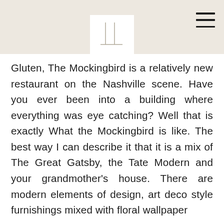[Figure (logo): Minimalist logo with two vertical lines and a horizontal baseline, resembling the letter IL or TL on a light beige header background]
Gluten, The Mockingbird is a relatively new restaurant on the Nashville scene. Have you ever been into a building where everything was eye catching? Well that is exactly What the Mockingbird is like. The best way I can describe it that it is a mix of The Great Gatsby, the Tate Modern and your grandmother's house. There are modern elements of design, art deco style furnishings mixed with floral wallpaper